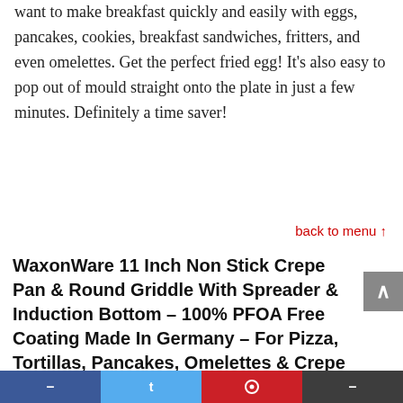want to make breakfast quickly and easily with eggs, pancakes, cookies, breakfast sandwiches, fritters, and even omelettes. Get the perfect fried egg! It's also easy to pop out of mould straight onto the plate in just a few minutes. Definitely a time saver!
back to menu ↑
WaxonWare 11 Inch Non Stick Crepe Pan & Round Griddle With Spreader & Induction Bottom – 100% PFOA Free Coating Made In Germany – For Pizza, Tortillas, Pancakes, Omelettes & Crepe (MARBELLOUS Series)